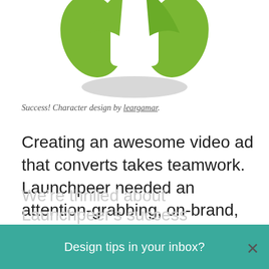[Figure (illustration): Cartoon character torso wearing a green scarf/clothing, with a gray oval shadow beneath, on a white background. Only the upper body and shadow are visible, cropped at the top.]
Success! Character design by leargamar.
Creating an awesome video ad that converts takes teamwork. Launchpeer needed an attention-grabbing, on-brand, informative looping video ad and Mariya delivered exactly what they needed, all thanks to Launchpeer's relationship with 99designs and Melanie's hard work.
We're thrilled about Launchpeer's success
Design tips in your inbox?